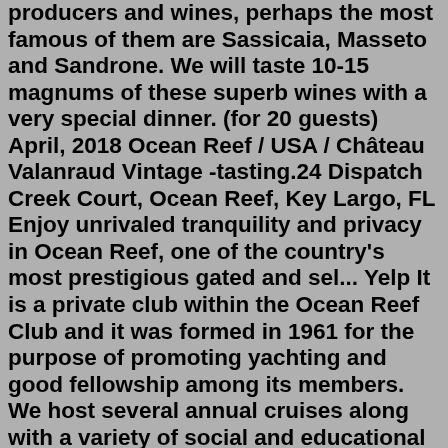producers and wines, perhaps the most famous of them are Sassicaia, Masseto and Sandrone. We will taste 10-15 magnums of these superb wines with a very special dinner. (for 20 guests) April, 2018 Ocean Reef / USA / Château Valanraud Vintage -tasting.24 Dispatch Creek Court, Ocean Reef, Key Largo, FL Enjoy unrivaled tranquility and privacy in Ocean Reef, one of the country's most prestigious gated and sel... Yelp It is a private club within the Ocean Reef Club and it was formed in 1961 for the purpose of promoting yachting and good fellowship among its members. We host several annual cruises along with a variety of social and educational events each season. Our mission is to celebrate the camaraderie of yachting, journey to interesting destinations ... This is the famed Club where Members of Congress meet socially with businessmen. The Club also has a vast history of U.S. Presidents as members. The Congressional opened in 1924, and its Blue...Nov 28, 2014 · I wasn't particularly happy about going to a conference in a will places Key Largo. I was